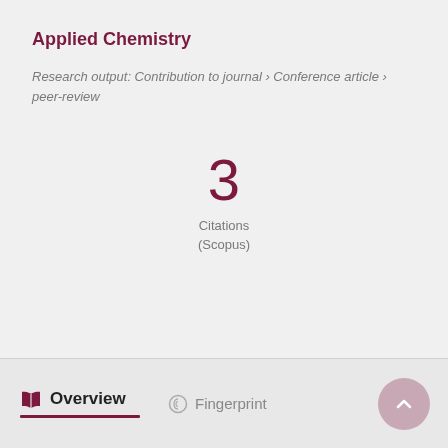Applied Chemistry
Research output: Contribution to journal › Conference article › peer-review
3
Citations
(Scopus)
Overview   Fingerprint